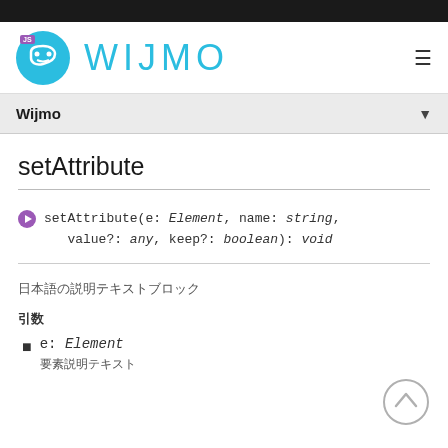Wijmo
setAttribute
setAttribute(e: Element, name: string, value?: any, keep?: boolean): void
日本語の説明テキスト
引数
e: Element
要素説明